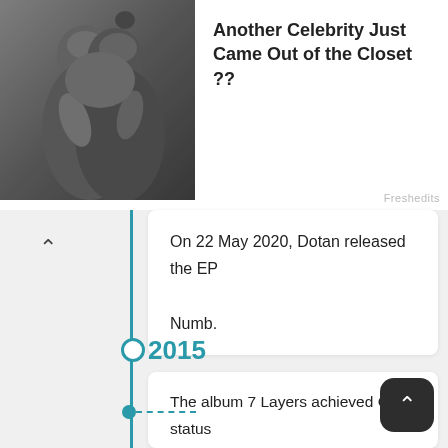[Figure (photo): Black and white photo of two people kissing closely, one with hair up in a bun]
Another Celebrity Just Came Out of the Closet ??
Freshedits
On 22 May 2020, Dotan released the EP Numb.
2015
The album 7 Layers achieved Gold status on 25 August, and "Home" reached Double Platinum status. It also went Gold in Belgium. The album reached Double Platinum on 15 October 2015 in the Netherlands, and "Home" achieved Triple Platinum status on 23 December 2014. The single also reached number 2 on the